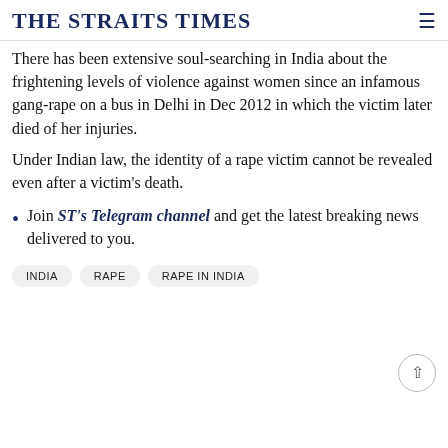THE STRAITS TIMES
There has been extensive soul-searching in India about the frightening levels of violence against women since an infamous gang-rape on a bus in Delhi in Dec 2012 in which the victim later died of her injuries.
Under Indian law, the identity of a rape victim cannot be revealed even after a victim's death.
Join ST's Telegram channel and get the latest breaking news delivered to you.
INDIA   RAPE   RAPE IN INDIA